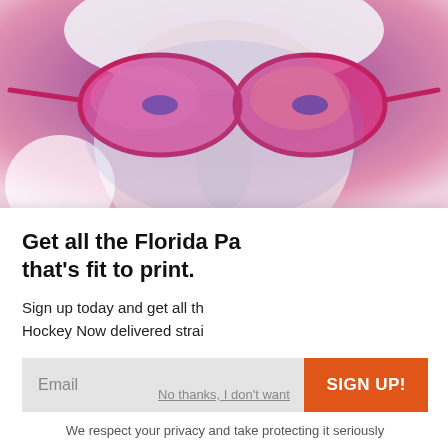[Figure (photo): Close-up photo of a person wearing large pink/red futuristic sunglasses against a blue-purple background]
[Figure (screenshot): Black video loading panel with a spinner icon and an X close button in the top right corner]
Get all the Florida Pa that's fit to print.
Sign up today and get all th Hockey Now delivered strai
Email
SIGN UP!
We respect your privacy and take protecting it seriously
[Figure (photo): Photo of a cat (tabby) on green grass at the bottom of the page]
No thanks, I don't want